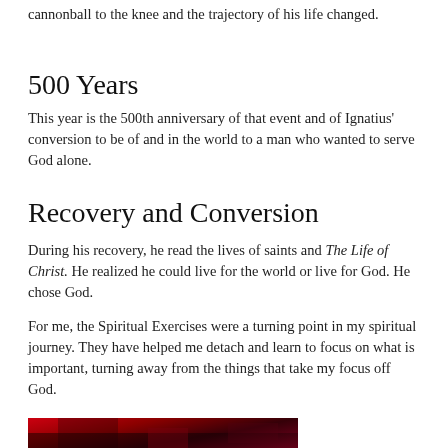cannonball to the knee and the trajectory of his life changed.
500 Years
This year is the 500th anniversary of that event and of Ignatius' conversion to be of and in the world to a man who wanted to serve God alone.
Recovery and Conversion
During his recovery, he read the lives of saints and The Life of Christ. He realized he could live for the world or live for God. He chose God.
For me, the Spiritual Exercises were a turning point in my spiritual journey. They have helped me detach and learn to focus on what is important, turning away from the things that take my focus off God.
[Figure (photo): Red and dark maroon abstract texture, possibly fabric or painted surface]